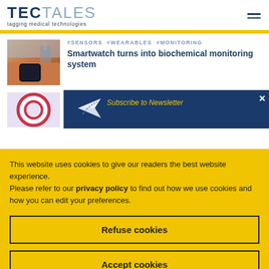TECTALES tagging medical technologies
#SENSORS #WEARABLES #MONITORING
Smartwatch turns into biochemical monitoring system
[Figure (photo): Photo of a smartwatch worn on a wrist against a background of buildings]
[Figure (photo): Partial photo of a circular red/white medical device or sensor]
Subscribe to Newsletter (partial, behind overlay)
This website uses cookies to give our readers the best website experience.
Please refer to our privacy policy to find out how we use cookies and how you can edit your preferences.
Refuse cookies
Accept cookies